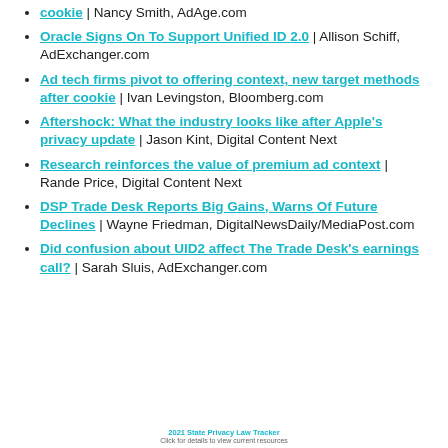cookie | Nancy Smith, AdAge.com
Oracle Signs On To Support Unified ID 2.0 | Allison Schiff, AdExchanger.com
Ad tech firms pivot to offering context, new target methods after cookie | Ivan Levingston, Bloomberg.com
Aftershock: What the industry looks like after Apple's privacy update | Jason Kint, Digital Content Next
Research reinforces the value of premium ad context | Rande Price, Digital Content Next
DSP Trade Desk Reports Big Gains, Warns Of Future Declines | Wayne Friedman, DigitalNewsDaily/MediaPost.com
Did confusion about UID2 affect The Trade Desk's earnings call? | Sarah Sluis, AdExchanger.com
2021 State Privacy Law Tracker
Click for details to view current resources